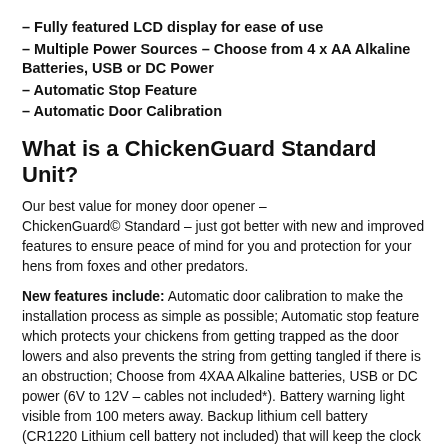– Fully featured LCD display for ease of use
– Multiple Power Sources – Choose from 4 x AA Alkaline Batteries, USB or DC Power
– Automatic Stop Feature
– Automatic Door Calibration
What is a ChickenGuard Standard Unit?
Our best value for money door opener – ChickenGuard© Standard – just got better with new and improved features to ensure peace of mind for you and protection for your hens from foxes and other predators.
New features include: Automatic door calibration to make the installation process as simple as possible; Automatic stop feature which protects your chickens from getting trapped as the door lowers and also prevents the string from getting tangled if there is an obstruction; Choose from 4XAA Alkaline batteries, USB or DC power (6V to 12V – cables not included*). Battery warning light visible from 100 meters away. Backup lithium cell battery (CR1220 Lithium cell battery not included) that will keep the clock working when the batteries run our or while replacing